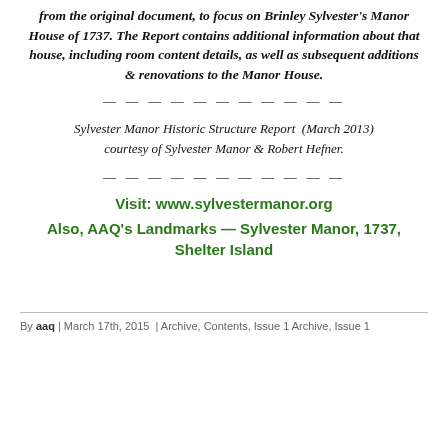from the original document, to focus on Brinley Sylvester's Manor House of 1737. The Report contains additional information about that house, including room content details, as well as subsequent additions & renovations to the Manor House.
— — — — — — — — — — —
Sylvester Manor Historic Structure Report  (March 2013) courtesy of Sylvester Manor & Robert Hefner.
— — — — — — — — — — —
Visit: www.sylvestermanor.org
Also, AAQ's Landmarks — Sylvester Manor, 1737, Shelter Island
By aaq | March 17th, 2015 | Archive, Contents, Issue 1 Archive, Issue 1